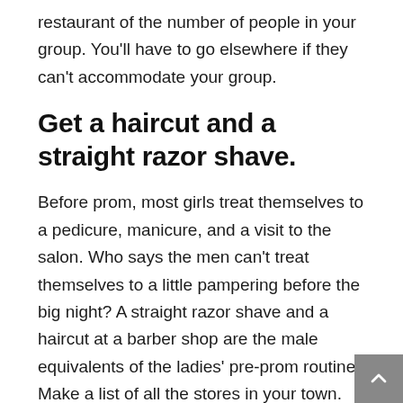restaurant of the number of people in your group. You'll have to go elsewhere if they can't accommodate your group.
Get a haircut and a straight razor shave.
Before prom, most girls treat themselves to a pedicure, manicure, and a visit to the salon. Who says the men can't treat themselves to a little pampering before the big night? A straight razor shave and a haircut at a barber shop are the male equivalents of the ladies' pre-prom routine. Make a list of all the stores in your town.